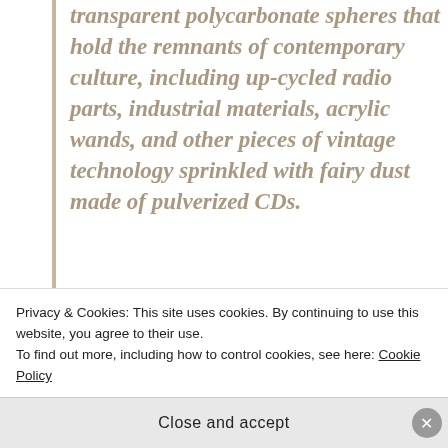transparent polycarbonate spheres that hold the remnants of contemporary culture, including up-cycled radio parts, industrial materials, acrylic wands, and other pieces of vintage technology sprinkled with fairy dust made of pulverized CDs.
Download now
[Figure (photo): Podcast app promotional image showing '99% Invisible' and other podcast covers on a dark background with green and red cards]
Privacy & Cookies: This site uses cookies. By continuing to use this website, you agree to their use.
To find out more, including how to control cookies, see here: Cookie Policy
Close and accept